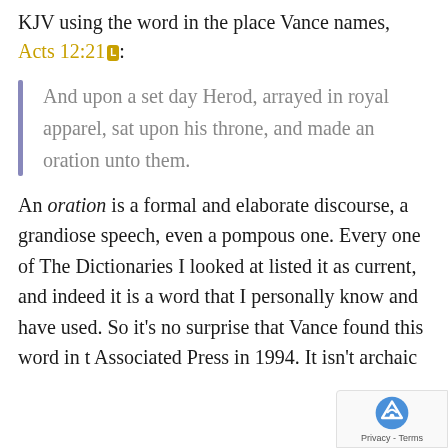KJV using the word in the place Vance names, Acts 12:21 [L]:
And upon a set day Herod, arrayed in royal apparel, sat upon his throne, and made an oration unto them.
An oration is a formal and elaborate discourse, a grandiose speech, even a pompous one. Every one of The Dictionaries I looked at listed it as current, and indeed it is a word that I personally know and have used. So it's no surprise that Vance found this word in the Associated Press in 1994. It isn't archaic